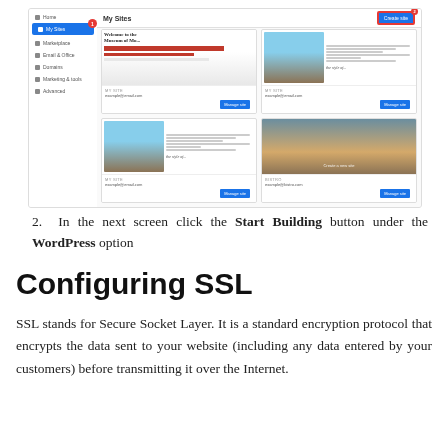[Figure (screenshot): WordPress My Sites dashboard screenshot showing sidebar navigation with 'My Sites' highlighted in blue, a top bar with 'My Sites' title and 'Create site' button (circled with red badge 2), and a 2x2 grid of site cards each with thumbnail previews, site labels, URLs, and blue 'Manage site' buttons. A red badge with '1' appears near the sidebar.]
2. In the next screen click the Start Building button under the WordPress option
Configuring SSL
SSL stands for Secure Socket Layer. It is a standard encryption protocol that encrypts the data sent to your website (including any data entered by your customers) before transmitting it over the Internet.